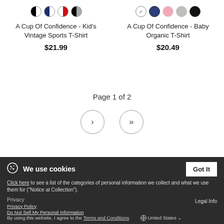[Figure (other): Color swatches for Kid's Vintage Sports T-Shirt: half-black/white, half-navy/white, half-red/white, half-gray/black]
A Cup Of Confidence - Kid's Vintage Sports T-Shirt
$21.99
[Figure (other): Color swatches for Baby Organic T-Shirt: checkmark/selected white, navy, pink, light gray, black]
A Cup Of Confidence - Baby Organic T-Shirt
$20.49
Page 1 of 2
Click here to see a list of the categories of personal information we collect and what we use them for ("Notice at Collection").
Privacy
Privacy Policy
Do Not Sell My Personal Information
Legal Info
By using this website, I agree to the Terms and Conditions
United States